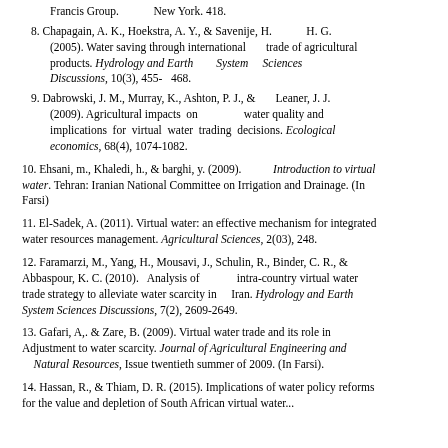Francis Group.          New York. 418.
8. Chapagain, A. K., Hoekstra, A. Y., & Savenije, H.          H. G. (2005). Water saving through international      trade of agricultural products. Hydrology and Earth        System Sciences Discussions, 10(3), 455-  468.
9. Dabrowski, J. M., Murray, K., Ashton, P. J., &       Leaner, J. J. (2009). Agricultural impacts on              water quality and implications for virtual water trading decisions. Ecological economics, 68(4), 1074-1082.
10. Ehsani, m., Khaledi, h., & barghi, y. (2009).        Introduction to virtual water. Tehran: Iranian National Committee on Irrigation and Drainage. (In Farsi)
11. El-Sadek, A. (2011). Virtual water: an effective mechanism for integrated water resources management. Agricultural Sciences, 2(03), 248.
12. Faramarzi, M., Yang, H., Mousavi, J., Schulin, R., Binder, C. R., & Abbaspour, K. C. (2010).  Analysis of          intra-country virtual water trade strategy to alleviate water scarcity in      Iran. Hydrology and Earth System Sciences Discussions, 7(2), 2609-2649.
13. Gafari, A,. & Zare, B. (2009). Virtual water trade and its role in Adjustment to water scarcity. Journal of Agricultural Engineering and Natural Resources, Issue twentieth summer of 2009. (In Farsi).
14. Hassan, R., & Thiam, D. R. (2015). Implications of water policy reforms for the value and depletion of South African virtual water...